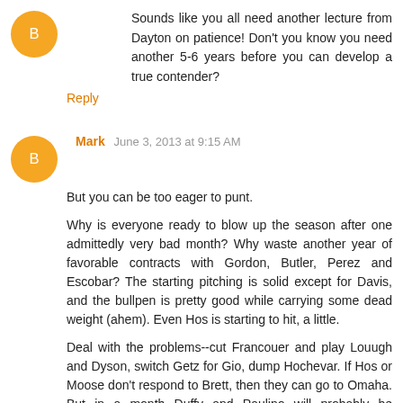Sounds like you all need another lecture from Dayton on patience! Don't you know you need another 5-6 years before you can develop a true contender?
Reply
Mark  June 3, 2013 at 9:15 AM
But you can be too eager to punt.

Why is everyone ready to blow up the season after one admittedly very bad month? Why waste another year of favorable contracts with Gordon, Butler, Perez and Escobar? The starting pitching is solid except for Davis, and the bullpen is pretty good while carrying some dead weight (ahem). Even Hos is starting to hit, a little.

Deal with the problems--cut Francouer and play Louugh and Dyson, switch Getz for Gio, dump Hochevar. If Hos or Moose don't respond to Brett, then they can go to Omaha. But in a month Duffy and Paulino will probably be available. And maybe Stanton, too. I'm not drinking the Kool Aid. I am